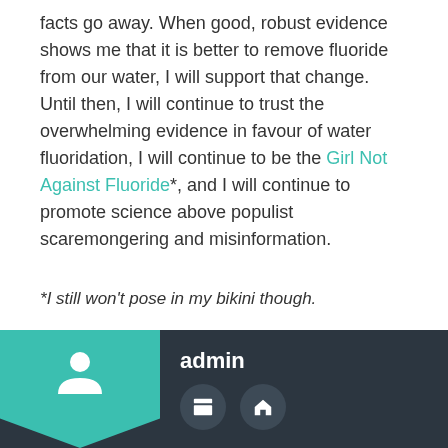facts go away. When good, robust evidence shows me that it is better to remove fluoride from our water, I will support that change. Until then, I will continue to trust the overwhelming evidence in favour of water fluoridation, I will continue to be the Girl Not Against Fluoride*, and I will continue to promote science above populist scaremongering and misinformation.
*I still won't pose in my bikini though.
admin